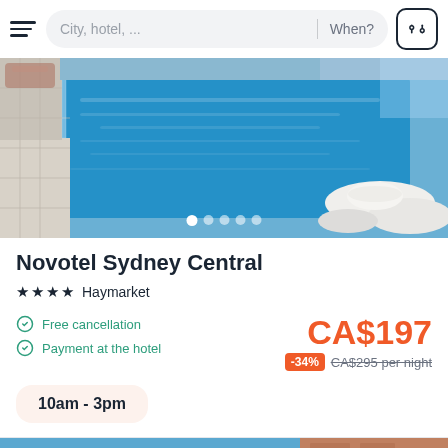City, hotel, ... | When?
[Figure (photo): Hotel outdoor swimming pool with blue water, white lounge chairs and towels, tile surround. Carousel dots at bottom showing 5 images, first active.]
Novotel Sydney Central
★★★★ Haymarket
Free cancellation
Payment at the hotel
CA$197
-34% CA$295 per night
10am - 3pm
[Figure (photo): Partial view of another hotel listing image at the bottom of the page.]